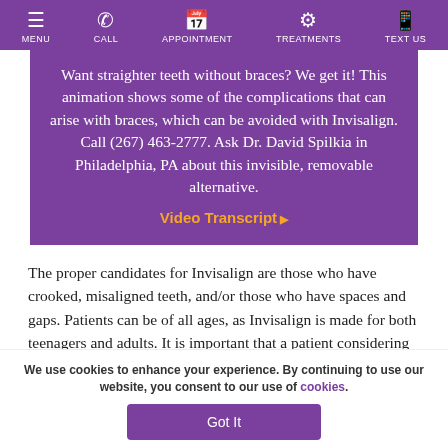MENU | CALL | APPOINTMENT | TREATMENTS | TEXT US
Want straighter teeth without braces? We get it! This animation shows some of the complications that can arise with braces, which can be avoided with Invisalign. Call (267) 463-2777. Ask Dr. David Spilkia in Philadelphia, PA about this invisible, removable alternative.
Video Transcript
The proper candidates for Invisalign are those who have crooked, misaligned teeth, and/or those who have spaces and gaps. Patients can be of all ages, as Invisalign is made for both teenagers and adults. It is important that a patient considering Invisalign be committed to the process, as compliance is essential for seeing the proper results. Dr. Spilkia will consult with patients regarding the importance of
We use cookies to enhance your experience. By continuing to use our website, you consent to our use of cookies.
Got It